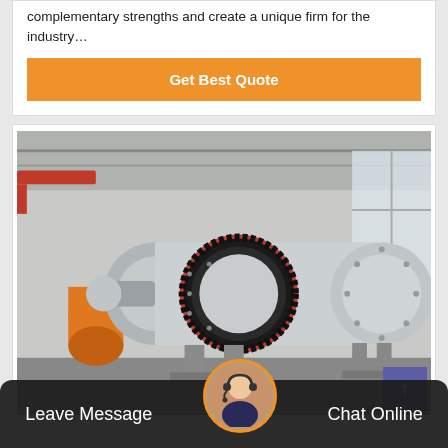complementary strengths and create a unique firm for the industry…
Get Best Quote
[Figure (photo): Industrial ball mill machine in a factory setting. Large grey cylindrical drum with a black gear ring around it, red accent ring, mounted on a frame. Another orange cylindrical machine visible in the background. Factory roof structure and windows visible.]
Leave Message
Chat Online